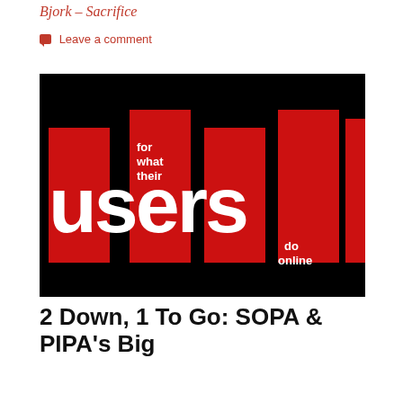Bjork - Sacrifice
Leave a comment
[Figure (photo): A promotional or infographic-style image with a black background and vertical red bars containing the word 'users' in large white bold letters. Smaller white text reads 'for what their' on one bar and 'do online' on another bar.]
2 Down, 1 To Go: SOPA & PIPA's Big